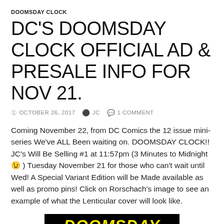DOOMSDAY CLOCK
DC'S DOOMSDAY CLOCK OFFICIAL AD & PRESALE INFO FOR NOV 21.
OCTOBER 26, 2017   JC   1 COMMENT
Coming November 22, from DC Comics the 12 issue mini-series We've ALL Been waiting on. DOOMSDAY CLOCK!! JC's Will Be Selling #1 at 11:57pm (3 Minutes to Midnight 😉 ) Tuesday November 21 for those who can't wait until Wed! A Special Variant Edition will be Made available as well as promo pins! Click on Rorschach's image to see an example of what the Lenticular cover will look like.
[Figure (illustration): Black banner with yellow bold italic text reading DOOMSDAY CLOCK]